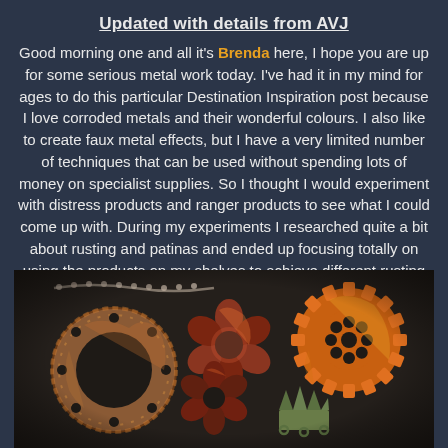Updated with details from AVJ
Good morning one and all it's Brenda here, I hope you are up for some serious metal work today. I've had it in my mind for ages to do this particular Destination Inspiration post because I love corroded metals and their wonderful colours. I also like to create faux metal effects, but I have a very limited number of techniques that can be used without spending lots of money on specialist supplies. So I thought I would experiment with distress products and ranger products to see what I could come up with. During my experiments I researched quite a bit about rusting and patinas and ended up focusing totally on using the products on my shelves to achieve different rusting effects. I hope you like the selection.
[Figure (photo): Photo of several decorative metal charms and findings with rusted, patinated surfaces including a donut/washer shape, flower-shaped bead caps, gear/cog shapes, and a crown charm, all showing orange, rust, brown and copper tones against a dark background.]